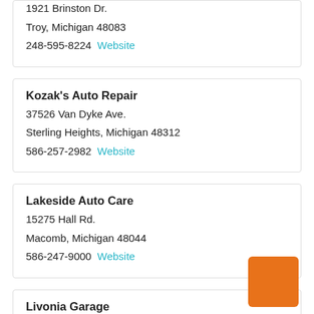1921 Brinston Dr.
Troy, Michigan 48083
248-595-8224  Website
Kozak's Auto Repair
37526 Van Dyke Ave.
Sterling Heights, Michigan 48312
586-257-2982  Website
Lakeside Auto Care
15275 Hall Rd.
Macomb, Michigan 48044
586-247-9000  Website
Livonia Garage
15140 Middlebelt Road